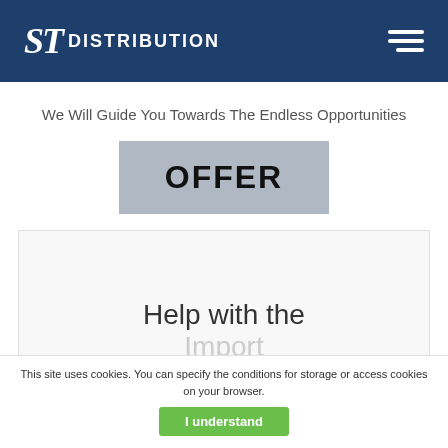ST DISTRIBUTION
We Will Guide You Towards The Endless Opportunities
OFFER
Help with the
Import
This site uses cookies. You can specify the conditions for storage or access cookies on your browser.
I understand